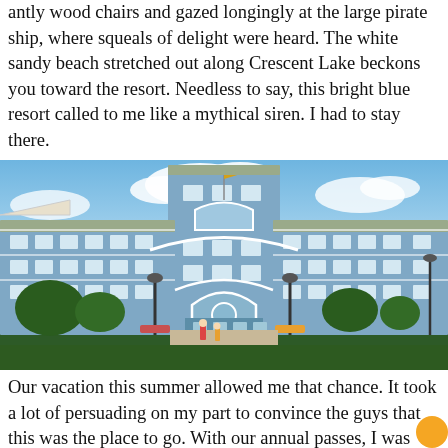antly wood chairs and gazed longingly at the large pirate ship, where squeals of delight were heard. The white sandy beach stretched out along Crescent Lake beckons you toward the resort. Needless to say, this bright blue resort called to me like a mythical siren. I had to stay there.
[Figure (photo): Exterior facade of a large blue Victorian-style resort hotel (Disney's Beach Club Resort) with white trim, multiple balconies, a central tower with a flag, and white ornamental archways. Blue sky with white clouds above, green landscaping and trees in the foreground.]
Our vacation this summer allowed me that chance. It took a lot of persuading on my part to convince the guys that this was the place to go. With our annual passes, I was able to book a club level